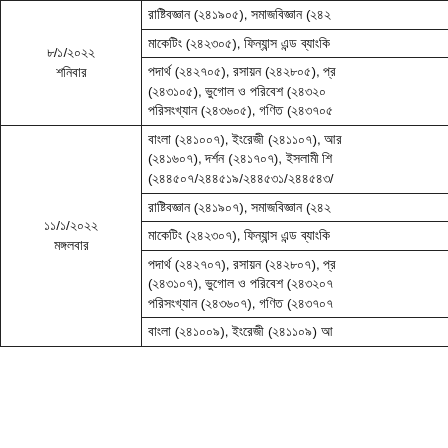| তারিখ | বিষয় |
| --- | --- |
| ৮/১/২০২২
শনিবার | রাষ্ট্রিবজ্ঞান (২৪১৯০৫), সমাজবিজ্ঞান (২৪২... |
|  | মাকেটিং (২৪২৩০৫), ফিন্যান্স এন্ড ব্যাংকি... |
|  | পদার্থ (২৪২৭০৫), রসায়ন (২৪২৮০৫), প্র... (২৪৩১০৫), ভুগোল ও পরিবেশ (২৪৩২০... পরিসংখ্যান (২৪৩৬০৫), গণিত (২৪৩৭০৫... |
| ১১/১/২০২২
মঙ্গলবার | বাংলা (২৪১০০৭), ইংরেজী (২৪১১০৭), আর... (২৪১৬০৭), দর্শন (২৪১৭০৭), ইসলামী শি... (২৪৪৫০৭/২৪৪৫১৯/২৪৪৫৩১/২৪৪৫৪৩/... |
|  | রাষ্ট্রিবজ্ঞান (২৪১৯০৭), সমাজবিজ্ঞান (২৪২... |
|  | মাকেটিং (২৪২৩০৭), ফিন্যান্স এন্ড ব্যাংকি... |
|  | পদার্থ (২৪২৭০৭), রসায়ন (২৪২৮০৭), প্র... (২৪৩১০৭), ভুগোল ও পরিবেশ (২৪৩২০৭... পরিসংখ্যান (২৪৩৬০৭), গণিত (২৪৩৭০৭... |
|  | বাংলা (২৪১০০৯), ইংরেজী (২৪১১০৯) আ... |